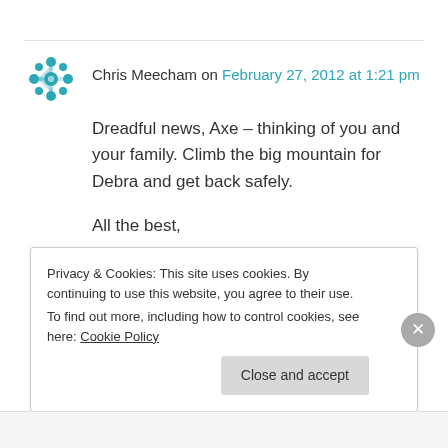Chris Meecham on February 27, 2012 at 1:21 pm
Dreadful news, Axe – thinking of you and your family. Climb the big mountain for Debra and get back safely.

All the best,

Loll.
★ Like
Privacy & Cookies: This site uses cookies. By continuing to use this website, you agree to their use.
To find out more, including how to control cookies, see here: Cookie Policy
Close and accept